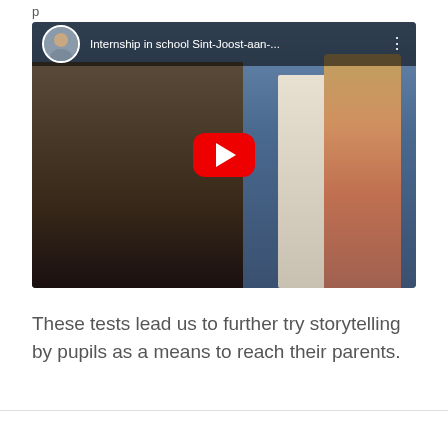p
[Figure (screenshot): YouTube video thumbnail showing a child in front of anatomical models (skeleton and human body mannequin). Title bar reads 'Internship in school Sint-Joost-aan-...' with a male presenter avatar. Red YouTube play button in center.]
These tests lead us to further try storytelling by pupils as a means to reach their parents.